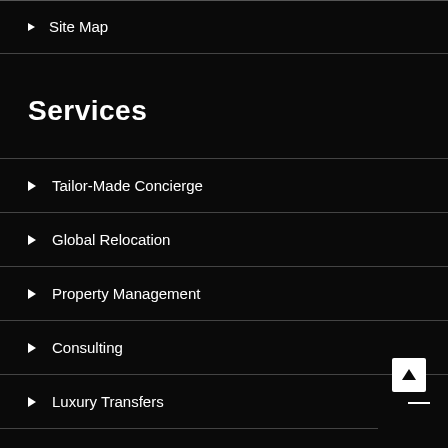Site Map
Services
Tailor-Made Concierge
Global Relocation
Property Management
Consulting
Luxury Transfers
Golden Visa